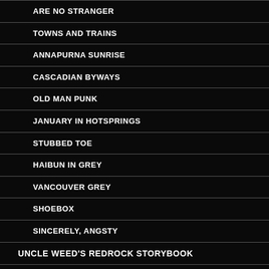ARE NO STRANGER
TOWNS AND TRAINS
ANNAPURNA SUNRISE
CASCADIAN BYWAYS
OLD MAN PUNK
JANUARY IN HOTSPRINGS
STUBBED TOE
HAIBUN IN GREY
VANCOUVER GREY
SHOEBOX
SINCERELY, ANGSTY
UNCLE WEED'S REDROCK STORYBOOK